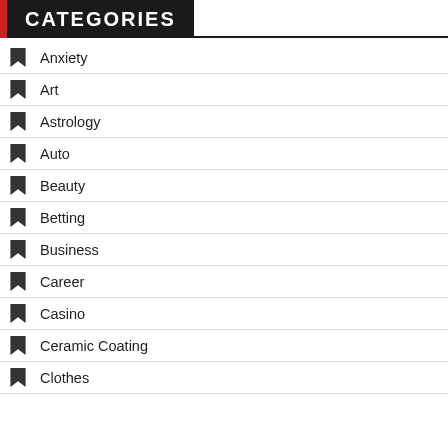CATEGORIES
Anxiety
Art
Astrology
Auto
Beauty
Betting
Business
Career
Casino
Ceramic Coating
Clothes